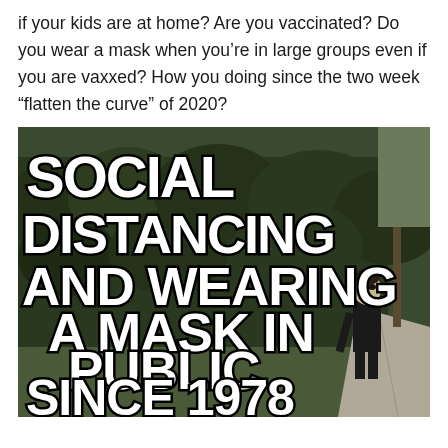if your kids are at home? Are you vaccinated? Do you wear a mask when you're in large groups even if you are vaxxed? How you doing since the two week “flatten the curve” of 2020?
[Figure (photo): A meme image showing a dark background with hedges and a person in a mask (Michael Myers from Halloween film). Large bold white text with black outline reads: SOCIAL DISTANCING AND WEARING A MASK IN PUBLIC SINCE 1978]